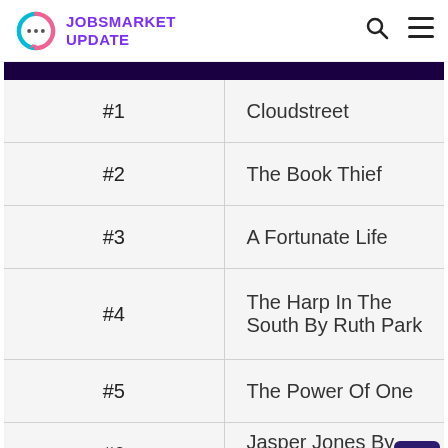JOBSMARKET UPDATE
|  |  |
| --- | --- |
| #1 | Cloudstreet |
| #2 | The Book Thief |
| #3 | A Fortunate Life |
| #4 | The Harp In The South By Ruth Park |
| #5 | The Power Of One |
| #6 | Jasper Jones By Craig Silvey |
| #7 | The Magic Pudding |